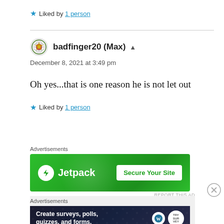★ Liked by 1 person
badfinger20 (Max) ▲
December 8, 2021 at 3:49 pm
Oh yes...that is one reason he is not let out
★ Liked by 1 person
[Figure (other): Jetpack advertisement banner — green background with Jetpack logo and 'Secure Your Site' button]
[Figure (other): Survey/polls advertisement — dark navy background with text 'Create surveys, polls, quizzes, and forms.' with WordPress and survey tool logos]